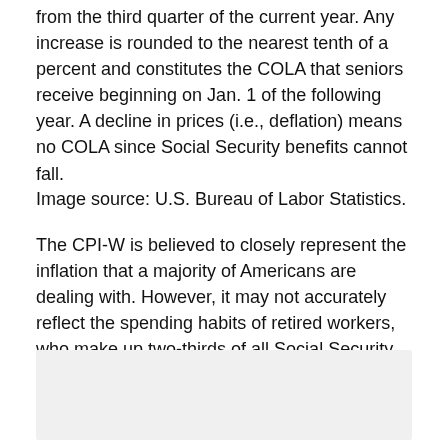from the third quarter of the current year. Any increase is rounded to the nearest tenth of a percent and constitutes the COLA that seniors receive beginning on Jan. 1 of the following year. A decline in prices (i.e., deflation) means no COLA since Social Security benefits cannot fall.
Image source: U.S. Bureau of Labor Statistics.
The CPI-W is believed to closely represent the inflation that a majority of Americans are dealing with. However, it may not accurately reflect the spending habits of retired workers, who make up two-thirds of all Social Security beneficiaries.
[Figure (other): Gray placeholder box, approximately the lower quarter of the page]